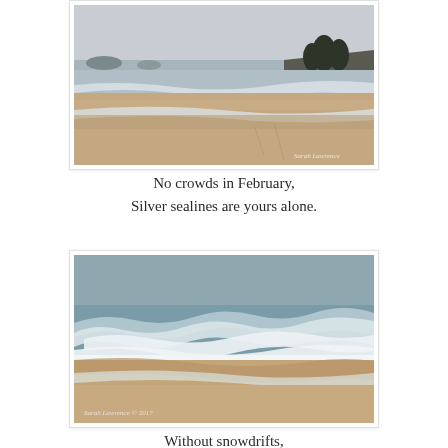[Figure (photo): A beach scene in overcast winter light. Sandy shore with gentle waves washing up. In the background, a rocky headland with dark trees (Norfolk pines) visible on the right. Calm silver-grey water and pale sky. Photographer watermark in lower right corner.]
No crowds in February,
Silver sealines are yours alone.
[Figure (photo): Close-up beach scene with waves breaking on sandy shore. Teal-grey ocean water with white foamy surf. Sandy beach in foreground. Overcast sky. Photographer watermark in lower left corner.]
Without snowdrifts,